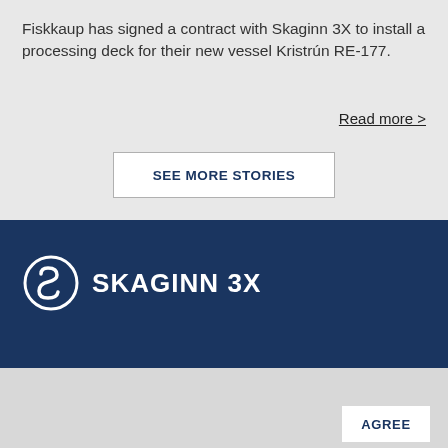Fiskkaup has signed a contract with Skaginn 3X to install a processing deck for their new vessel Kristrún RE-177.
Read more >
SEE MORE STORIES
[Figure (logo): Skaginn 3X logo on navy blue background — circular S icon with white outline and white text SKAGINN 3X]
This website uses cookies to enhance your user experience. By continuing to use this website you consent to the use of cookies.
AGREE